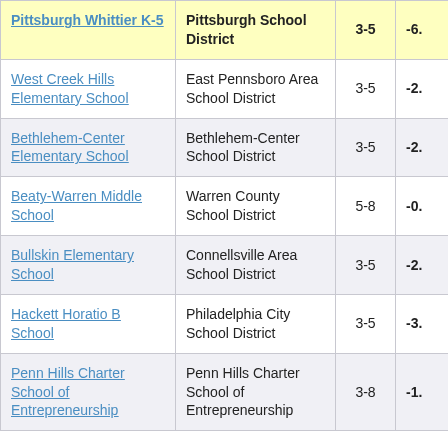| School | District | Grades | Score |
| --- | --- | --- | --- |
| Pittsburgh Whittier K-5 | Pittsburgh School District | 3-5 | -6. |
| West Creek Hills Elementary School | East Pennsboro Area School District | 3-5 | -2. |
| Bethlehem-Center Elementary School | Bethlehem-Center School District | 3-5 | -2. |
| Beaty-Warren Middle School | Warren County School District | 5-8 | -0. |
| Bullskin Elementary School | Connellsville Area School District | 3-5 | -2. |
| Hackett Horatio B School | Philadelphia City School District | 3-5 | -3. |
| Penn Hills Charter School of Entrepreneurship | Penn Hills Charter School of Entrepreneurship | 3-8 | -1. |